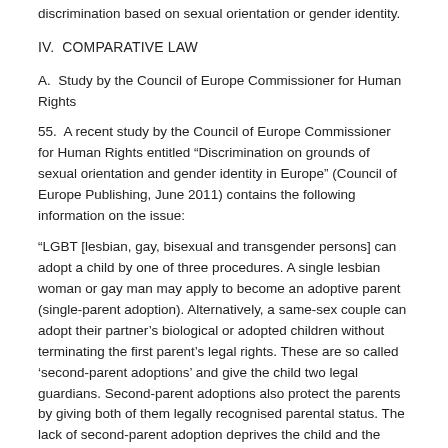discrimination based on sexual orientation or gender identity.
IV.  COMPARATIVE LAW
A.  Study by the Council of Europe Commissioner for Human Rights
55.  A recent study by the Council of Europe Commissioner for Human Rights entitled “Discrimination on grounds of sexual orientation and gender identity in Europe” (Council of Europe Publishing, June 2011) contains the following information on the issue:
“LGBT [lesbian, gay, bisexual and transgender persons] can adopt a child by one of three procedures. A single lesbian woman or gay man may apply to become an adoptive parent (single-parent adoption). Alternatively, a same-sex couple can adopt their partner’s biological or adopted children without terminating the first parent’s legal rights. These are so called ‘second-parent adoptions’ and give the child two legal guardians. Second-parent adoptions also protect the parents by giving both of them legally recognised parental status. The lack of second-parent adoption deprives the child and the non-biological parent of rights if the biological parent dies or in the case of divorce, separation, or other circumstances that would bar the parent from carrying out parental responsibilities. The child also has no right to inherit from the non-biological parent. Moreover, at an everyday level,